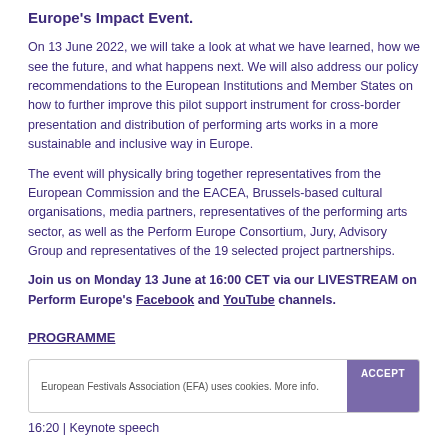Europe's Impact Event.
On 13 June 2022, we will take a look at what we have learned, how we see the future, and what happens next. We will also address our policy recommendations to the European Institutions and Member States on how to further improve this pilot support instrument for cross-border presentation and distribution of performing arts works in a more sustainable and inclusive way in Europe.
The event will physically bring together representatives from the European Commission and the EACEA, Brussels-based cultural organisations, media partners, representatives of the performing arts sector, as well as the Perform Europe Consortium, Jury, Advisory Group and representatives of the 19 selected project partnerships.
Join us on Monday 13 June at 16:00 CET via our LIVESTREAM on Perform Europe's Facebook and YouTube channels.
PROGRAMME
European Festivals Association (EFA) uses cookies. More info.
16:20 | Keynote speech